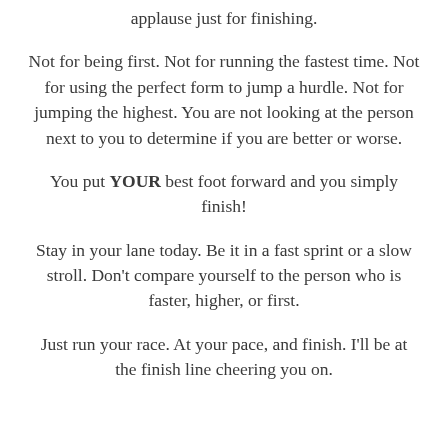applause just for finishing.
Not for being first. Not for running the fastest time. Not for using the perfect form to jump a hurdle. Not for jumping the highest. You are not looking at the person next to you to determine if you are better or worse.
You put YOUR best foot forward and you simply finish!
Stay in your lane today. Be it in a fast sprint or a slow stroll. Don't compare yourself to the person who is faster, higher, or first.
Just run your race. At your pace, and finish. I'll be at the finish line cheering you on.